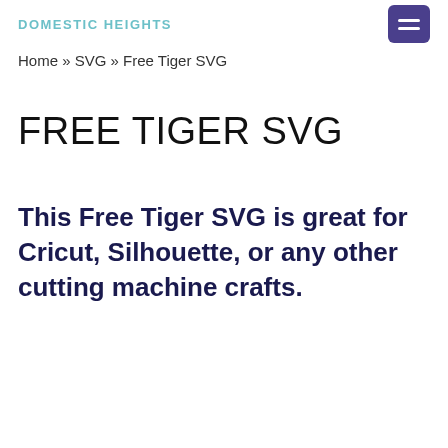DOMESTIC HEIGHTS
Home » SVG » Free Tiger SVG
FREE TIGER SVG
This Free Tiger SVG is great for Cricut, Silhouette, or any other cutting machine crafts.